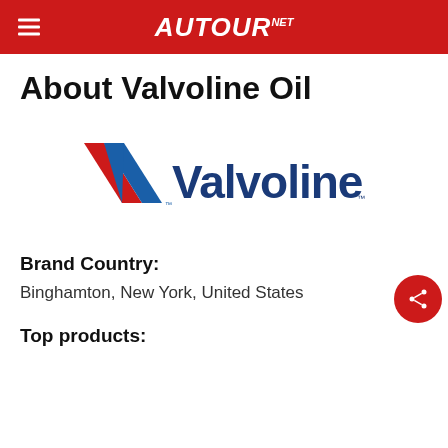AUTOUR.NET
About Valvoline Oil
[Figure (logo): Valvoline logo with red and blue V chevron mark and blue 'Valvoline.' wordmark]
Brand Country:
Binghamton, New York, United States
Top products: